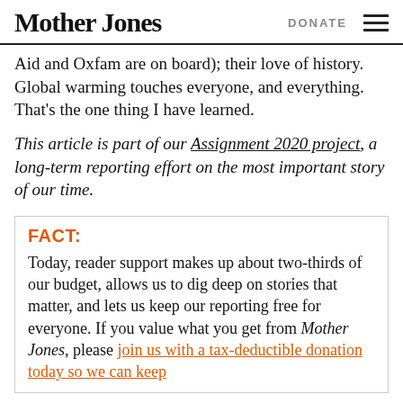Mother Jones | DONATE
Aid and Oxfam are on board); their love of history. Global warming touches everyone, and everything. That’s the one thing I have learned.
This article is part of our Assignment 2020 project, a long-term reporting effort on the most important story of our time.
FACT:
Today, reader support makes up about two-thirds of our budget, allows us to dig deep on stories that matter, and lets us keep our reporting free for everyone. If you value what you get from Mother Jones, please join us with a tax-deductible donation today so we can keep